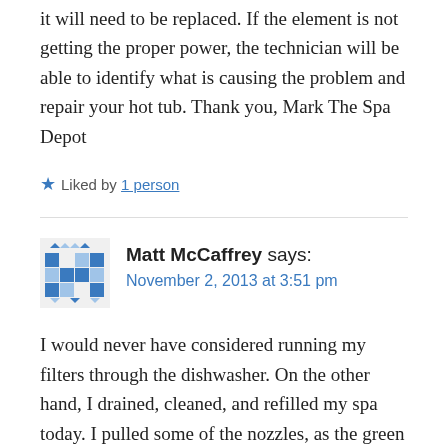it will need to be replaced. If the element is not getting the proper power, the technician will be able to identify what is causing the problem and repair your hot tub. Thank you, Mark The Spa Depot
Liked by 1 person
Matt McCaffrey says:
November 2, 2013 at 3:51 pm
I would never have considered running my filters through the dishwasher. On the other hand, I drained, cleaned, and refilled my spa today. I pulled some of the nozzles, as the green gunk from the spa flush had gotten behind them. It also happens I cleaned our bathroom whirlpool today, and the manufacturer says